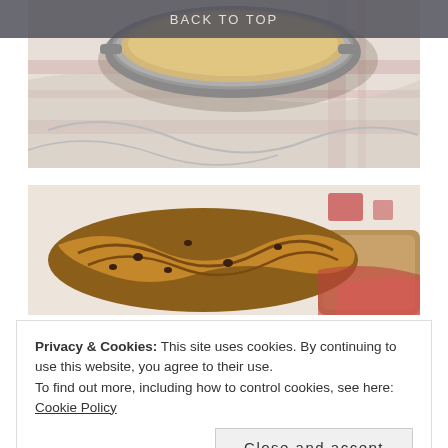BACK TO TOP
[Figure (photo): A baking pan with batter, resting on a striped white and pink cloth/towel]
[Figure (photo): A braided bread loaf with chocolate chips on a red and white cloth on a wooden board]
Privacy & Cookies: This site uses cookies. By continuing to use this website, you agree to their use.
To find out more, including how to control cookies, see here: Cookie Policy
Close and accept
[Figure (photo): Partial view of another food photo at the bottom of the page]